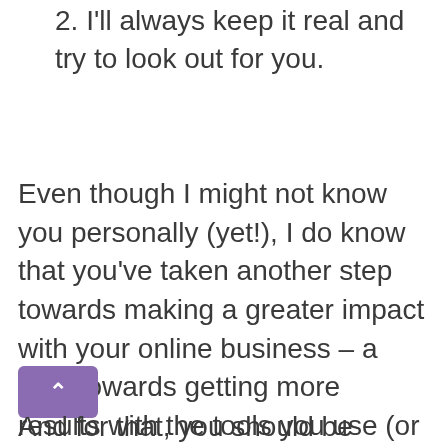2. I'll always keep it real and try to look out for you.
Even though I might not know you personally (yet!), I do know that you've taken another step towards making a greater impact with your online business – a step towards getting more results with the tools you use (or are about to discover), creating better content, capturing higher-quality leads, and converting more sales.
And for that, you should be commended